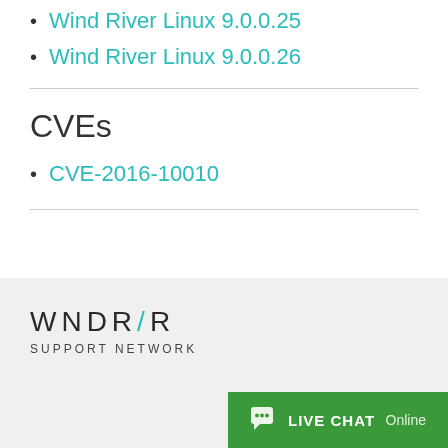Wind River Linux 9.0.0.25
Wind River Linux 9.0.0.26
CVEs
CVE-2016-10010
[Figure (logo): WNDRVR Support Network logo with teal slash in WNDRVR wordmark]
LIVE CHAT Online